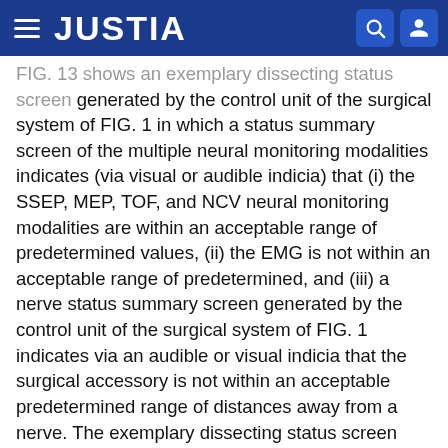JUSTIA
FIG. 13 shows an exemplary dissecting status screen generated by the control unit of the surgical system of FIG. 1 in which a status summary screen of the multiple neural monitoring modalities indicates (via visual or audible indicia) that (i) the SSEP, MEP, TOF, and NCV neural monitoring modalities are within an acceptable range of predetermined values, (ii) the EMG is not within an acceptable range of predetermined, and (iii) a nerve status summary screen generated by the control unit of the surgical system of FIG. 1 indicates via an audible or visual indicia that the surgical accessory is not within an acceptable predetermined range of distances away from a nerve. The exemplary dissecting status screen also indicates a visual warning to the user that the surgical accessory is not within an acceptable predetermined range of distances away from a nerve.
FIG. 14 shows an exemplary dissecting status screen